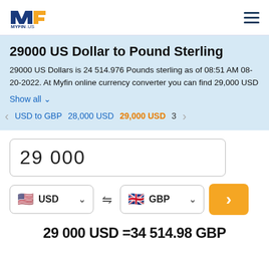MYFIN.US
29000 US Dollar to Pound Sterling
29000 US Dollars is 24 514.976 Pounds sterling as of 08:51 AM 08-20-2022. At Myfin online currency converter you can find 29,000 USD
Show all
< USD to GBP  28,000 USD  29,000 USD  3  >
29 000
USD  GBP
29 000 USD =34 514.98 GBP